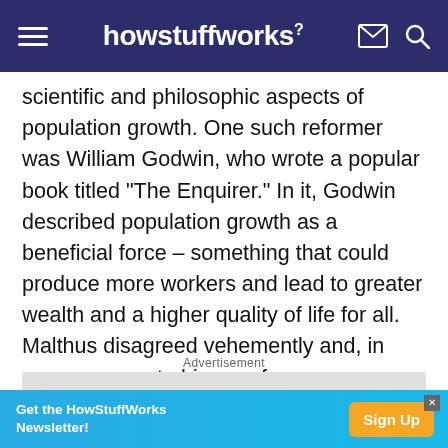howstuffworks
scientific and philosophic aspects of population growth. One such reformer was William Godwin, who wrote a popular book titled "The Enquirer." In it, Godwin described population growth as a beneficial force – something that could produce more workers and lead to greater wealth and a higher quality of life for all. Malthus disagreed vehemently and, in response, wrote his now-famous essay.
Advertisement
[Figure (other): Advertisement placeholder box (gray)]
[Figure (other): Bottom banner ad: Get the HowStuffWorks Newsletter! with Sign Up button]